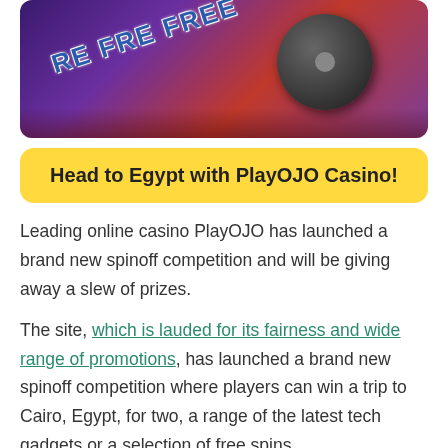[Figure (illustration): Casino promotional banner image with purple/red background showing 'FREE FREE FREE' text in blue and a robot vacuum/disc object on the right side]
Head to Egypt with PlayOJO Casino!
Leading online casino PlayOJO has launched a brand new spinoff competition and will be giving away a slew of prizes.
The site, which is lauded for its fairness and wide range of promotions, has launched a brand new spinoff competition where players can win a trip to Cairo, Egypt, for two, a range of the latest tech gadgets or a selection of free spins.